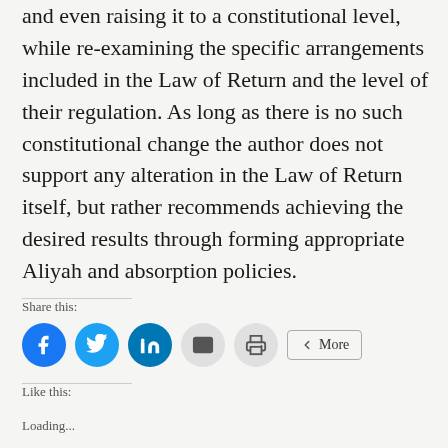and even raising it to a constitutional level, while re-examining the specific arrangements included in the Law of Return and the level of their regulation. As long as there is no such constitutional change the author does not support any alteration in the Law of Return itself, but rather recommends achieving the desired results through forming appropriate Aliyah and absorption policies.
Share this:
[Figure (other): Social sharing buttons: Facebook, Twitter, LinkedIn, Email, Print, and More]
Like this:
Loading...